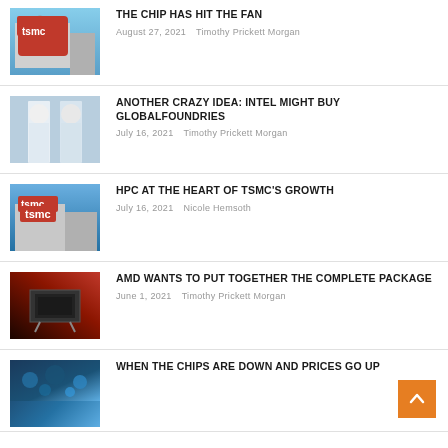[Figure (photo): TSMC sign with red logo on building exterior against blue sky]
THE CHIP HAS HIT THE FAN
August 27, 2021   Timothy Prickett Morgan
[Figure (photo): Workers in white cleanroom suits seen from behind]
ANOTHER CRAZY IDEA: INTEL MIGHT BUY GLOBALFOUNDRIES
July 16, 2021   Timothy Prickett Morgan
[Figure (photo): TSMC sign on building exterior]
HPC AT THE HEART OF TSMC'S GROWTH
July 16, 2021   Nicole Hemsoth
[Figure (photo): AMD chip packaging on dark red circuit board background]
AMD WANTS TO PUT TOGETHER THE COMPLETE PACKAGE
June 1, 2021   Timothy Prickett Morgan
[Figure (photo): Blue-toned chips or silicon wafers]
WHEN THE CHIPS ARE DOWN AND PRICES GO UP